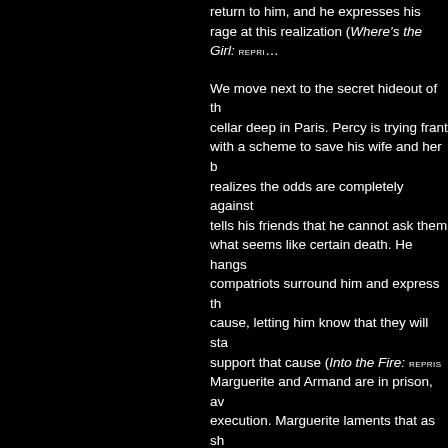return to him, and he expresses his rage at this realization (Where's the Girl: REPRI...
We move next to the secret hideout of the cellar deep in Paris. Percy is trying frantically with a scheme to save his wife and her b... realizes the odds are completely against... tells his friends that he cannot ask them... what seems like certain death. He hangs... compatriots surround him and express th... cause, letting him know that they will sta... support that cause (Into the Fire: REPRIS... Marguerite and Armand are in prison, aw... execution. Marguerite laments that as sh... must try to let go of her love for Percy (...
The appointed time for the execution arr... and Armand are led off to the guillotine. Chauvelin and Robespierre have devised... and Marguerite "escape" from his clutch... Armand then leads Chauvelin right to th... hideout on the seacoast. Marguerite lear... Pimpernel is none other than her husban... arrives just in time to have a final showc... (The Duel: INSTRUMENTAL).